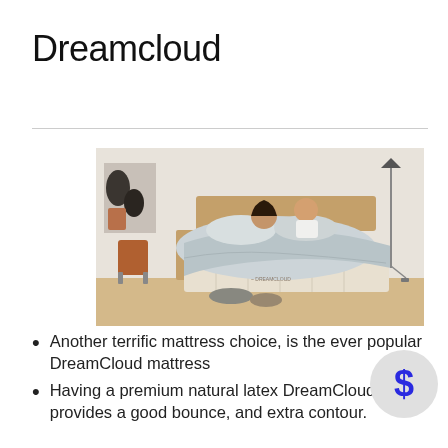Dreamcloud
[Figure (photo): A couple lying in a large bed with a DreamCloud mattress in a stylishly decorated bedroom with wooden furniture, grey bedding, a floor lamp, and artwork on the wall.]
Another terrific mattress choice, is the ever popular DreamCloud mattress
Having a premium natural latex DreamCloud provides a good bounce, and extra contour.